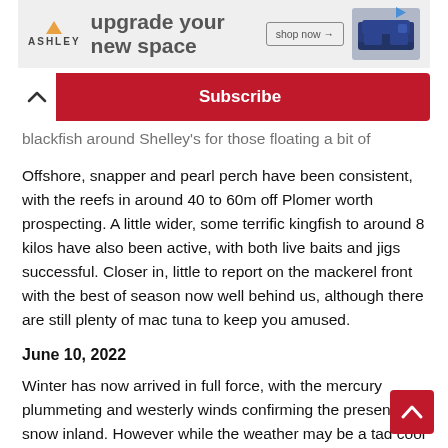[Figure (other): Ashley Furniture advertisement banner reading 'upgrade your new space' with shop now button and sofa image]
Subscribe
blackfish around Shelley's for those floating a bit of cabbage.
Offshore, snapper and pearl perch have been consistent, with the reefs in around 40 to 60m off Plomer worth prospecting. A little wider, some terrific kingfish to around 8 kilos have also been active, with both live baits and jigs successful. Closer in, little to report on the mackerel front with the best of season now well behind us, although there are still plenty of mac tuna to keep you amused.
June 10, 2022
Winter has now arrived in full force, with the mercury plummeting and westerly winds confirming the presence of snow inland. However while the weather may be a tad cool